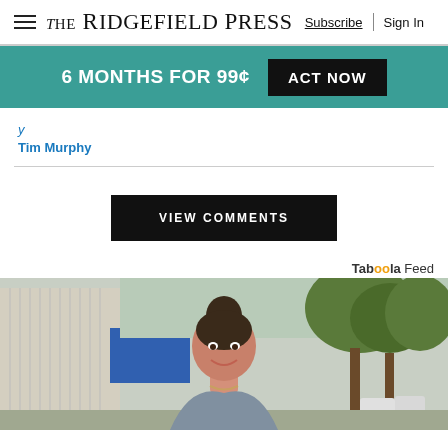The Ridgefield Press — Subscribe | Sign In
6 MONTHS FOR 99¢  ACT NOW
Tim Murphy
VIEW COMMENTS
Taboola Feed
[Figure (photo): Young woman smiling outdoors near a building and trees, hair in updo, wearing a light blue top]